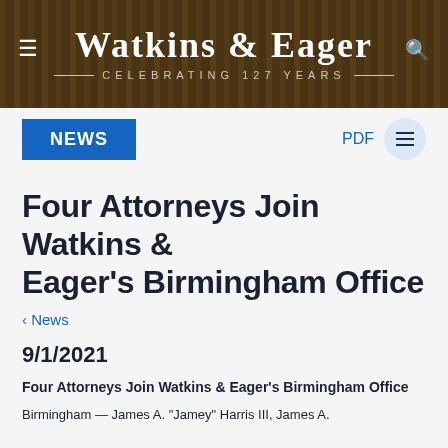Watkins & Eager — Celebrating 127 Years
NEWS
Four Attorneys Join Watkins & Eager's Birmingham Office
‹ News
9/1/2021
Four Attorneys Join Watkins & Eager's Birmingham Office
Birmingham — James A. "Jamey" Harris III, James A.